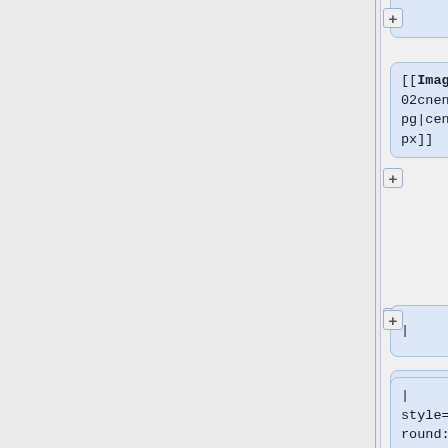[[Image:080602cnen.pdf.jpg|center|85px]]
|
| style="background:transparent; color: #333; width:50%; text-align:left; vertical-align:top;"|
# [[Python_Integration|Pyt